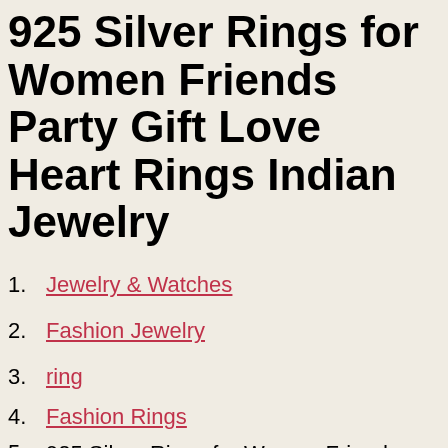925 Silver Rings for Women Friends Party Gift Love Heart Rings Indian Jewelry
1. Jewelry & Watches
2. Fashion Jewelry
3. ring
4. Fashion Rings
5. 925 Silver Rings for Women Friends Party Gift Love Heart Rings Indian Jewelry